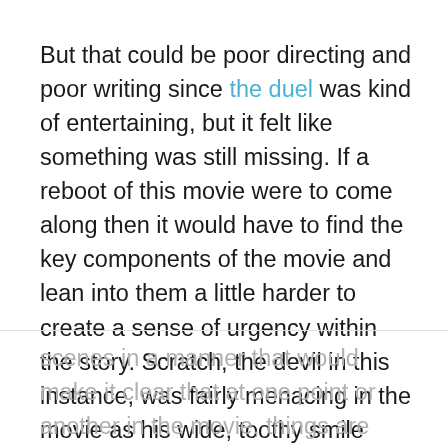But that could be poor directing and poor writing since the duel was kind of entertaining, but it felt like something was still missing. If a reboot of this movie were to come along then it would have to find the key components of the movie and lean into them a little harder to create a sense of urgency within the story. Scratch, the devil in this instance, was fairly menacing in the movie as his wide, toothy smile was a bit intimidating, and his manner was enough to make a person think that this was a character who was not to be messed with. But at the same time, a reboot would need to act accordingly and push certain
scenes in a manner that would make it clear that at one point or another in the movie, things are bound to get serious, and that there's extra meaning at those given moments. The story of meeting at the crossroads to make